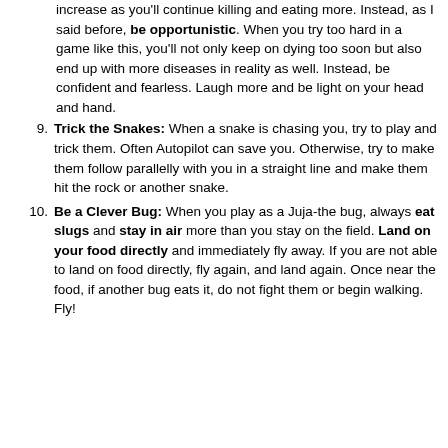increase as you'll continue killing and eating more. Instead, as I said before, be opportunistic. When you try too hard in a game like this, you'll not only keep on dying too soon but also end up with more diseases in reality as well. Instead, be confident and fearless. Laugh more and be light on your head and hand.
9. Trick the Snakes: When a snake is chasing you, try to play and trick them. Often Autopilot can save you. Otherwise, try to make them follow parallelly with you in a straight line and make them hit the rock or another snake.
10. Be a Clever Bug: When you play as a Juja-the bug, always eat slugs and stay in air more than you stay on the field. Land on your food directly and immediately fly away. If you are not able to land on food directly, fly again, and land again. Once near the food, if another bug eats it, do not fight them or begin walking. Fly!